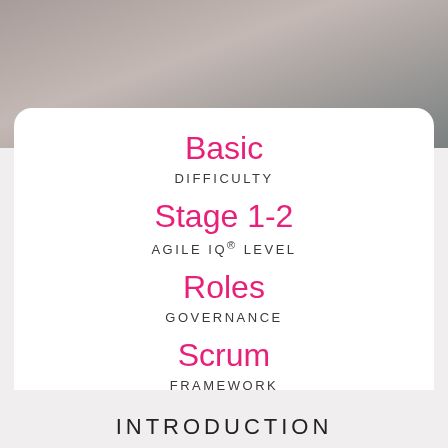[Figure (photo): Blurred outdoor photo background at top of page]
Basic
DIFFICULTY
Stage 1-2
AGILE IQ® LEVEL
Roles
GOVERNANCE
Scrum
FRAMEWORK
INTRODUCTION